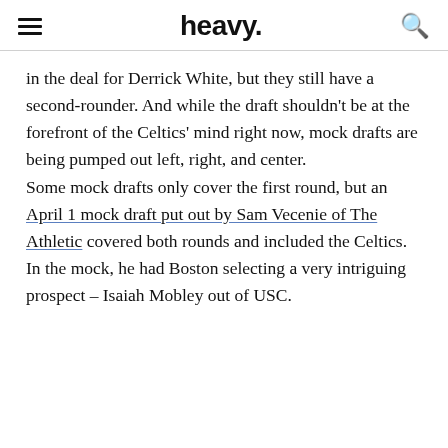heavy.
in the deal for Derrick White, but they still have a second-rounder. And while the draft shouldn't be at the forefront of the Celtics' mind right now, mock drafts are being pumped out left, right, and center.
Some mock drafts only cover the first round, but an April 1 mock draft put out by Sam Vecenie of The Athletic covered both rounds and included the Celtics. In the mock, he had Boston selecting a very intriguing prospect – Isaiah Mobley out of USC.